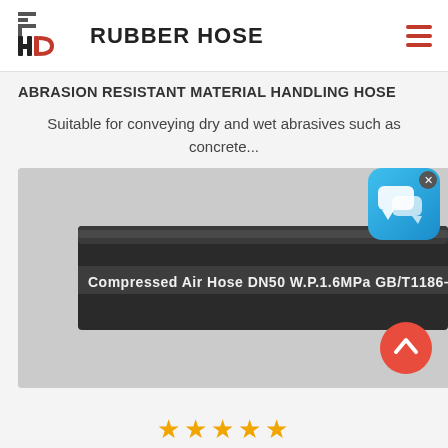[Figure (logo): HD Rubber Hose logo with stylized H and D letters in black and red, followed by the text RUBBER HOSE in bold black]
ABRASION RESISTANT MATERIAL HANDLING HOSE
Suitable for conveying dry and wet abrasives such as concrete...
[Figure (photo): A black rubber compressed air hose photographed on a gray background. Text on the hose reads: Compressed Air Hose DN50 W.P.1.6MPa GB/T1186-]
[Figure (other): Blue chat/messenger widget icon with close button]
[Figure (other): Red scroll-to-top circular button with upward chevron arrow]
★★★★★